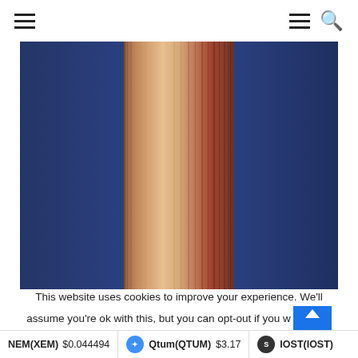≡  ≡ 🔍
[Figure (illustration): Abstract vertical color stripes artwork — dominant navy/dark blue on left and right sides, with warm tones (orange, tan, peach, burnt red) in the center band, creating a gradient stripe pattern]
This website uses cookies to improve your experience. We'll assume you're ok with this, but you can opt-out if you w
NEM(XEM) $0.044494   Qtum(QTUM) $3.17   IOST(IOST)